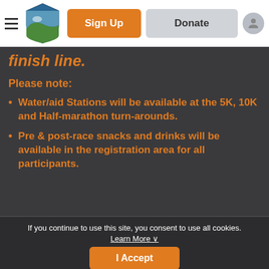[Figure (logo): Boys Home Boys Home Virginia shield logo with blue and green colors]
Sign Up
Donate
finish line.
Please note:
Water/aid Stations will be available at the 5K, 10K and Half-marathon turn-arounds.
Pre & post-race snacks and drinks will be available in the registration area for all participants.
If you continue to use this site, you consent to use all cookies. Learn More ∨
I Accept